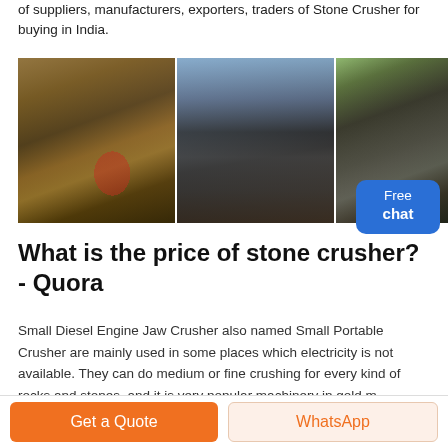of suppliers, manufacturers, exporters, traders of Stone Crusher for buying in India.
[Figure (photo): Three side-by-side photos of stone crusher machinery and equipment at mining/quarry sites]
What is the price of stone crusher? - Quora
Small Diesel Engine Jaw Crusher also named Small Portable Crusher are mainly used in some places which electricity is not available. They can do medium or fine crushing for every kind of rocks and stones. and it is very popular machinery in gold m...
Get a Quote
WhatsApp